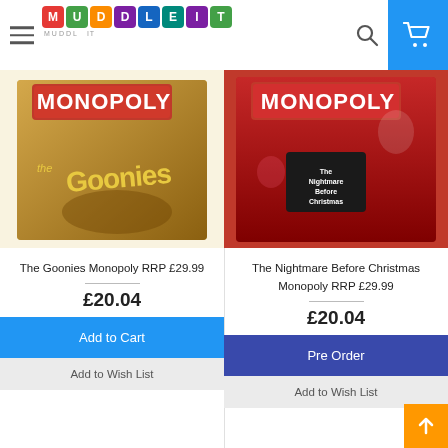Muddl It - online store header with logo, search, and cart
[Figure (photo): The Goonies Monopoly board game box with gold/brown artwork showing the Goonies characters]
[Figure (photo): The Nightmare Before Christmas Monopoly board game box with red artwork showing Jack Skellington and characters]
The Goonies Monopoly RRP £29.99
£20.04
The Nightmare Before Christmas Monopoly RRP £29.99
£20.04
Add to Cart
Pre Order
Add to Wish List
Add to Wish List